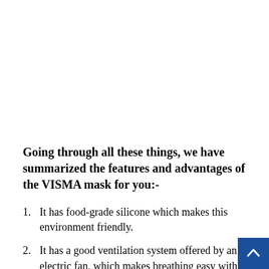Going through all these things, we have summarized the features and advantages of the VISMA mask for you:-
1. It has food-grade silicone which makes this environment friendly.
2. It has a good ventilation system offered by an electric fan, which makes breathing easy with no